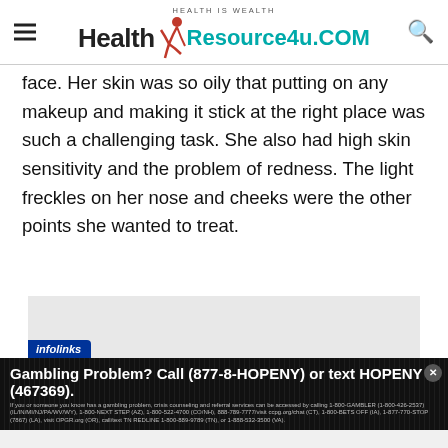HEALTH IS WEALTH | Health Resource4u.COM
face. Her skin was so oily that putting on any makeup and making it stick at the right place was such a challenging task. She also had high skin sensitivity and the problem of redness. The light freckles on her nose and cheeks were the other points she wanted to treat.
[Figure (screenshot): Advertisement area with infolinks label and gambling helpline banner: 'Gambling Problem? Call (877-8-HOPENY) or text HOPENY (467369).' with fine print about gambling resources.]